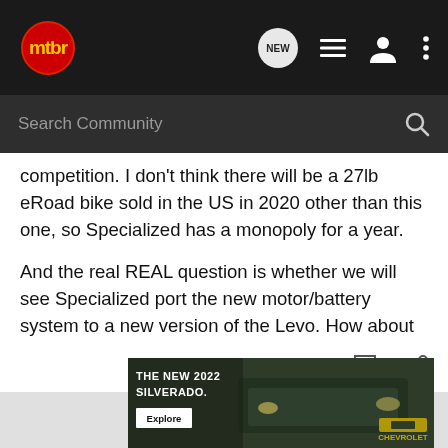mtbr — navigation header with search
competition. I don't think there will be a 27lb eRoad bike sold in the US in 2020 other than this one, so Specialized has a monopoly for a year.

And the real REAL question is whether we will see Specialized port the new motor/battery system to a new version of the Levo. How about a 38lb eMTB with 150mm of travel? That would be sweet. It would also be at *least* $9000.
[Figure (photo): Chevrolet Silverado 2022 advertisement banner showing the truck in a dark outdoor setting with the Chevrolet logo and Explore button]